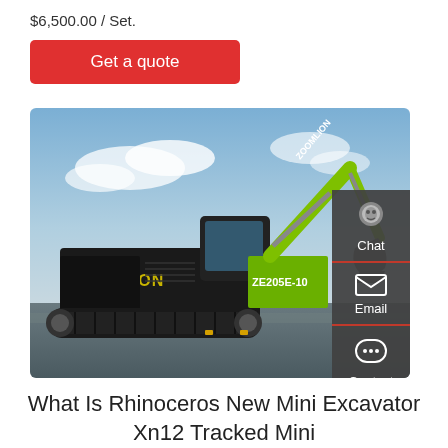$6,500.00 / Set.
Get a quote
[Figure (photo): Zoomlion ZE205E-10 tracked excavator with green arm/boom against a cloudy sky background, with Chat, Email, Contact sidebar overlay on the right]
What Is Rhinoceros New Mini Excavator Xn12 Tracked Mini